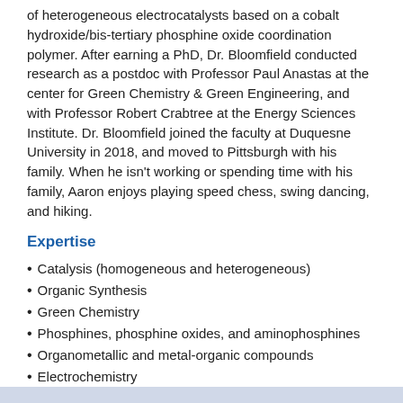of heterogeneous electrocatalysts based on a cobalt hydroxide/bis-tertiary phosphine oxide coordination polymer. After earning a PhD, Dr. Bloomfield conducted research as a postdoc with Professor Paul Anastas at the center for Green Chemistry & Green Engineering, and with Professor Robert Crabtree at the Energy Sciences Institute. Dr. Bloomfield joined the faculty at Duquesne University in 2018, and moved to Pittsburgh with his family. When he isn't working or spending time with his family, Aaron enjoys playing speed chess, swing dancing, and hiking.
Expertise
Catalysis (homogeneous and heterogeneous)
Organic Synthesis
Green Chemistry
Phosphines, phosphine oxides, and aminophosphines
Organometallic and metal-organic compounds
Electrochemistry